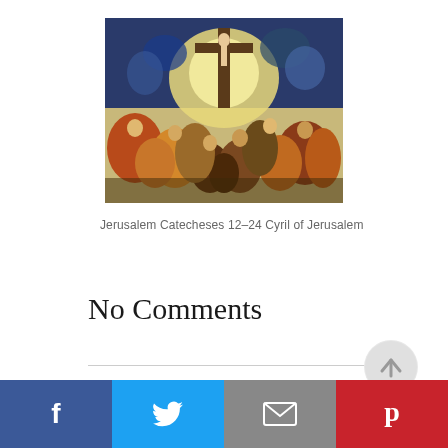[Figure (illustration): Religious painting depicting a crucifixion scene with many figures surrounding the cross, angels above, rendered in Renaissance style with rich colors (blues, reds, golds).]
Jerusalem Catecheses 12–24 Cyril of Jerusalem
No Comments
[Figure (infographic): Social media share bar at the bottom with four buttons: Facebook (blue, f icon), Twitter (light blue, bird icon), Email (grey, envelope icon), Pinterest (red, P icon). Also includes a circular scroll-to-top button with an upward arrow.]